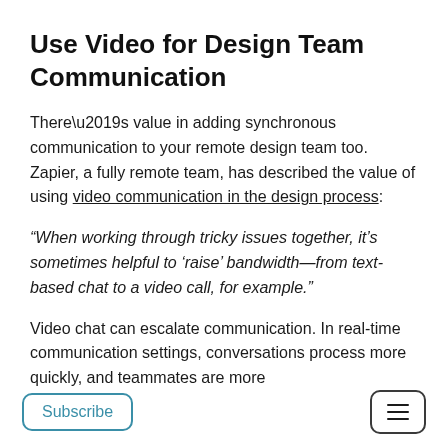Use Video for Design Team Communication
There’s value in adding synchronous communication to your remote design team too. Zapier, a fully remote team, has described the value of using video communication in the design process:
“When working through tricky issues together, it’s sometimes helpful to ‘raise’ bandwidth—from text-based chat to a video call, for example.”
Video chat can escalate communication. In real-time communication settings, conversations process more quickly, and teammates are more